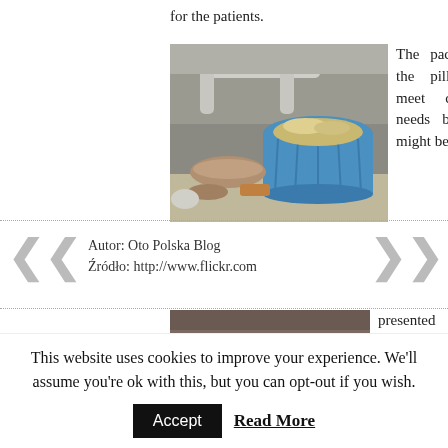for the patients.
[Figure (photo): Photo of a cluttered area under a sink with pipes visible and a blue laundry basket filled with various bags and items.]
The packing of the pills must meet countless needs before it might be
Autor: Oto Polska Blog
Źródło: http://www.flickr.com
[Figure (photo): Photo showing a person's arm/hand, partially visible, appears to be in a medical or everyday context.]
presented for the customers. Some of them
This website uses cookies to improve your experience. We'll assume you're ok with this, but you can opt-out if you wish.